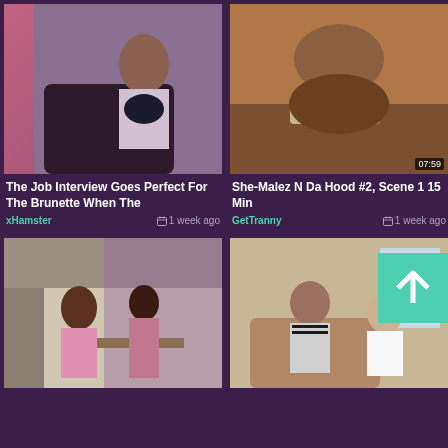[Figure (photo): Thumbnail image for video: woman in office setting]
The Job Interview Goes Perfect For The Brunette When The
xHamster
1 week ago
[Figure (photo): Thumbnail image for video: She-Malez N Da Hood #2, Scene 1]
She-Malez N Da Hood #2, Scene 1 15 Min
GetTranny
1 week ago
[Figure (photo): Thumbnail image for video: two women in kitchen]
[Figure (photo): Thumbnail image for video: two women on couch with teal arrow overlay]